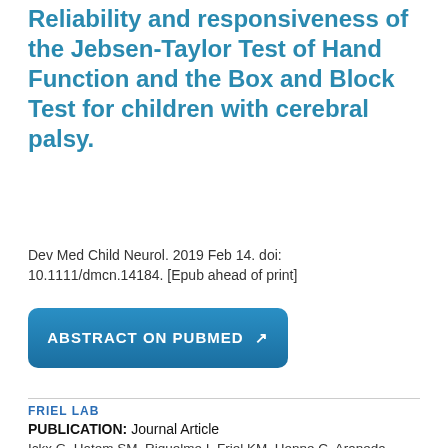Reliability and responsiveness of the Jebsen-Taylor Test of Hand Function and the Box and Block Test for children with cerebral palsy.
Dev Med Child Neurol. 2019 Feb 14. doi: 10.1111/dmcn.14184. [Epub ahead of print]
[Figure (other): Button link: ABSTRACT ON PUBMED with external link icon]
FRIEL LAB
PUBLICATION: Journal Article
Ickx G, Hatem SM, Riquelme I, Friel KM, Henne C, Araneda R, Gordon AM, Bleyenheuft Y.
Impairments of Visuospatial Attention in Children with Unilateral Spastic Cerebral